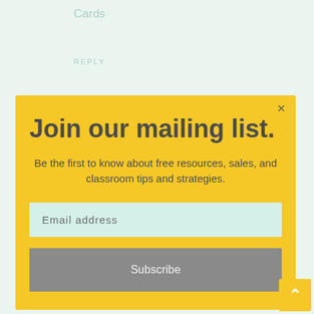Cards
REPLY
Join our mailing list.
Be the first to know about free resources, sales, and classroom tips and strategies.
Email address
Subscribe
rabbit gaming
REPLY